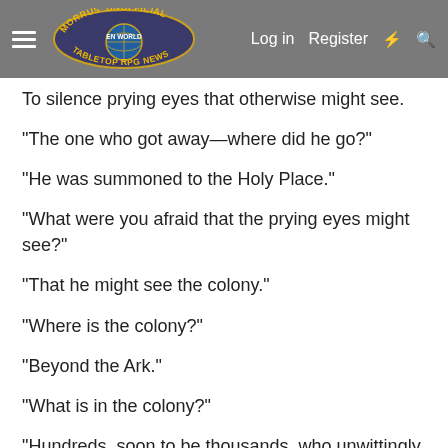Morrus' Unofficial Tabletop RPG News — Log in  Register
To silence prying eyes that otherwise might see.
"The one who got away—where did he go?"
"He was summoned to the Holy Place."
"What were you afraid that the prying eyes might see?"
"That he might see the colony."
"Where is the colony?"
"Beyond the Ark."
"What is in the colony?"
"Hundreds, soon to be thousands, who unwittingly serve the